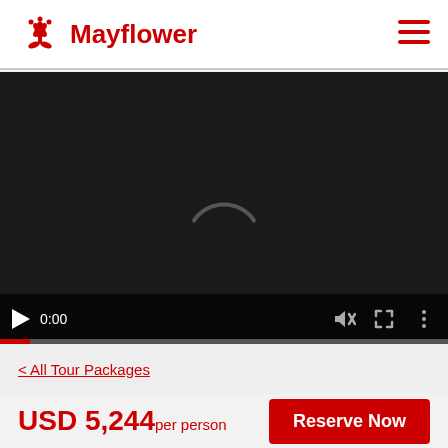Mayflower
[Figure (screenshot): Embedded video player with dark background, loading spinner arc, playback controls showing play button, time 0:00, mute, fullscreen, and more options icons, with a red progress bar at the bottom.]
< All Tour Packages
USD 5,244 per person
Reserve Now